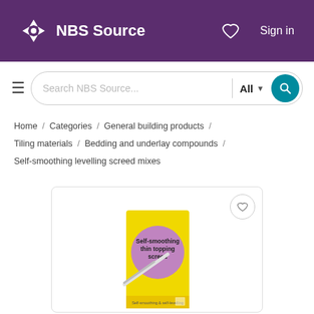NBS Source
Search NBS Source... All
Home / Categories / General building products / Tiling materials / Bedding and underlay compounds / Self-smoothing levelling screed mixes
[Figure (photo): A yellow bag of self-smoothing thin topping screed product shown inside a product listing card on the NBS Source website.]